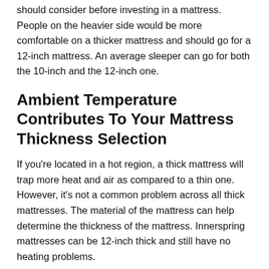should consider before investing in a mattress. People on the heavier side would be more comfortable on a thicker mattress and should go for a 12-inch mattress. An average sleeper can go for both the 10-inch and the 12-inch one.
Ambient Temperature Contributes To Your Mattress Thickness Selection
If you're located in a hot region, a thick mattress will trap more heat and air as compared to a thin one. However, it's not a common problem across all thick mattresses. The material of the mattress can help determine the thickness of the mattress. Innerspring mattresses can be 12-inch thick and still have no heating problems.
Choose A Mattress Based On Medical Conditions